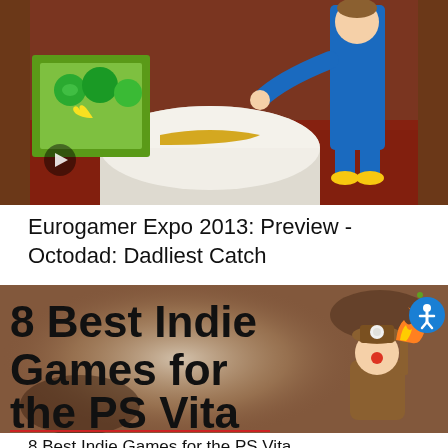[Figure (screenshot): Video thumbnail showing a 3D animated scene with a character in a blue suit next to a framed picture on a table, with a play button overlay. Eurogamer Expo 2013 Octodad preview.]
Eurogamer Expo 2013: Preview - Octodad: Dadliest Catch
[Figure (screenshot): Thumbnail image with dark brownish background showing bold black text '8 Best Indie Games for the PS Vita' with a cartoon character holding a torch on the right side and an accessibility icon button.]
8 Best Indie Games for the PS Vita